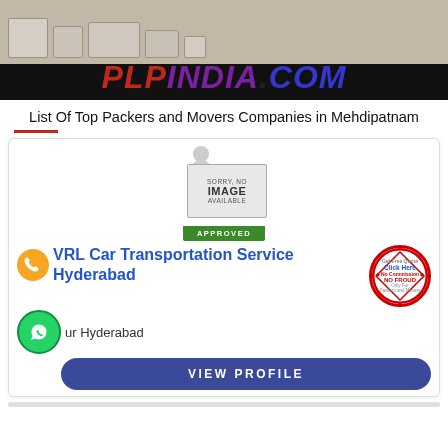[Figure (logo): PLPINDIA.COM banner logo with moving boxes photo background. Red italic PLPINDIA, blue .COM text.]
List Of Top Packers and Movers Companies in Mehdipatnam
[Figure (infographic): Card for VRL Car Transportation Service Hyderabad with 'Sorry No Image Available APPROVED' placeholder, No Commission badge, phone and WhatsApp icons, and VIEW PROFILE button.]